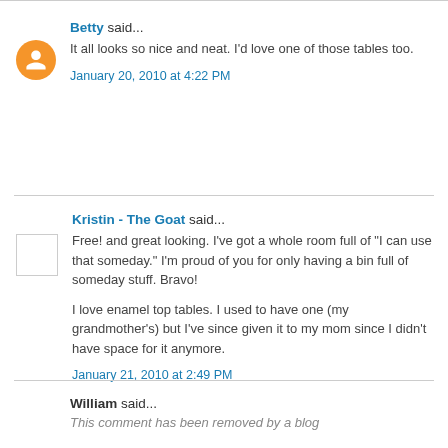Betty said... It all looks so nice and neat. I'd love one of those tables too. January 20, 2010 at 4:22 PM
Kristin - The Goat said... Free! and great looking. I've got a whole room full of "I can use that someday." I'm proud of you for only having a bin full of someday stuff. Bravo! I love enamel top tables. I used to have one (my grandmother's) but I've since given it to my mom since I didn't have space for it anymore. January 21, 2010 at 2:49 PM
William said... This comment has been removed by a blog